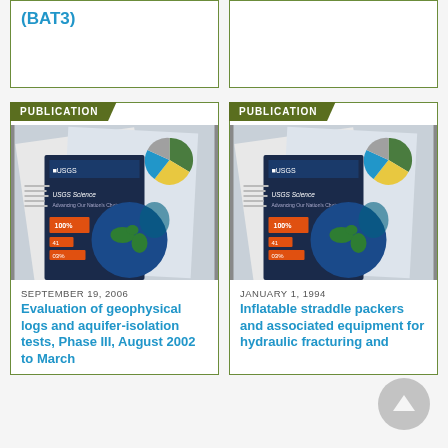(BAT3)
PUBLICATION
[Figure (photo): Stack of USGS Science publications and reports showing charts and earth imagery]
SEPTEMBER 19, 2006
Evaluation of geophysical logs and aquifer-isolation tests, Phase III, August 2002 to March
PUBLICATION
[Figure (photo): Stack of USGS Science publications and reports showing charts and earth imagery]
JANUARY 1, 1994
Inflatable straddle packers and associated equipment for hydraulic fracturing and